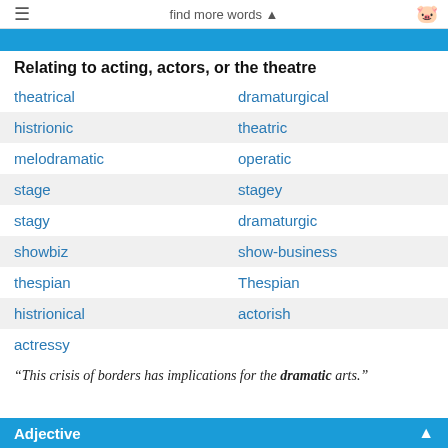find more words ▲
Relating to acting, actors, or the theatre
theatrical
dramaturgical
histrionic
theatric
melodramatic
operatic
stage
stagey
stagy
dramaturgic
showbiz
show-business
thespian
Thespian
histrionical
actorish
actressy
“This crisis of borders has implications for the dramatic arts.”
Adjective